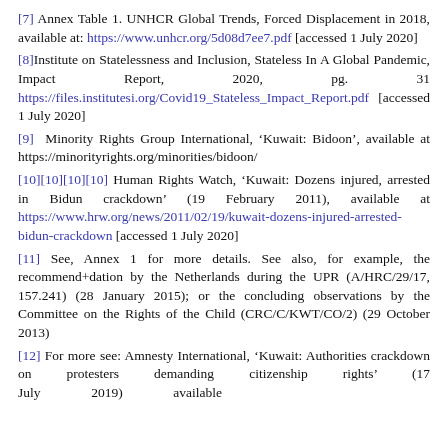[7] Annex Table 1. UNHCR Global Trends, Forced Displacement in 2018, available at: https://www.unhcr.org/5d08d7ee7.pdf [accessed 1 July 2020]
[8]Institute on Statelessness and Inclusion, Stateless In A Global Pandemic, Impact Report, 2020, pg. 31 https://files.institutesi.org/Covid19_Stateless_Impact_Report.pdf [accessed 1 July 2020]
[9] Minority Rights Group International, ‘Kuwait: Bidoon’, available at https://minorityrights.org/minorities/bidoon/
[10][10][10][10] Human Rights Watch, ‘Kuwait: Dozens injured, arrested in Bidun crackdown’ (19 February 2011), available at https://www.hrw.org/news/2011/02/19/kuwait-dozens-injured-arrested-bidun-crackdown [accessed 1 July 2020]
[11] See, Annex 1 for more details. See also, for example, the recommend+dation by the Netherlands during the UPR (A/HRC/29/17, 157.241) (28 January 2015); or the concluding observations by the Committee on the Rights of the Child (CRC/C/KWT/CO/2) (29 October 2013)
[12] For more see: Amnesty International, ‘Kuwait: Authorities crackdown on protesters demanding citizenship rights’ (17 July... 2019)... available